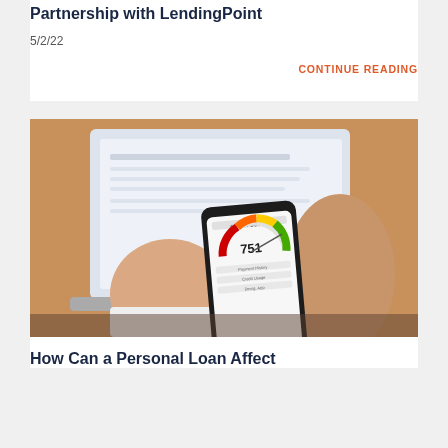Partnership with LendingPoint
5/2/22
CONTINUE READING
[Figure (photo): Person holding a smartphone displaying a credit score of 751, with a laptop in the background showing a spreadsheet or web page.]
How Can a Personal Loan Affect